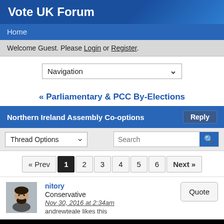Vote UK Forum
Home
Welcome Guest. Please Login or Register.
Navigation
« Parliamentary & PCC By-Elections
Northern Ireland Assembly Co-options
Thread Options
Search
« Prev 1 2 3 4 5 6 Next »
nitory
Conservative
Nov 30, 2016 at 2:34am
andrewteale likes this